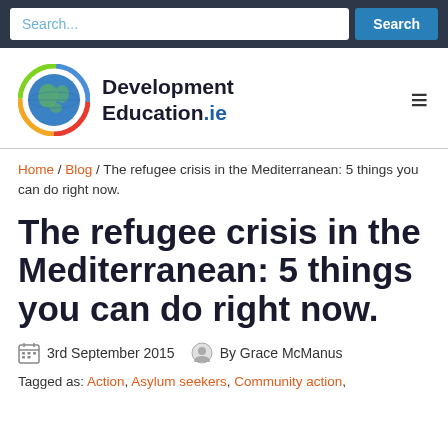Search...  Search
[Figure (logo): Development Education.ie globe logo with colorful circular border]
Home / Blog / The refugee crisis in the Mediterranean: 5 things you can do right now.
The refugee crisis in the Mediterranean: 5 things you can do right now.
3rd September 2015  By Grace McManus
Tagged as: Action, Asylum seekers, Community action,